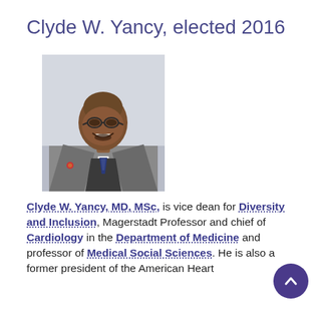Clyde W. Yancy, elected 2016
[Figure (photo): Professional headshot of Clyde W. Yancy, a bald African-American man wearing glasses, a gray suit, and a blue patterned tie, smiling.]
Clyde W. Yancy, MD, MSc, is vice dean for Diversity and Inclusion, Magerstadt Professor and chief of Cardiology in the Department of Medicine and professor of Medical Social Sciences. He is also a former president of the American Heart